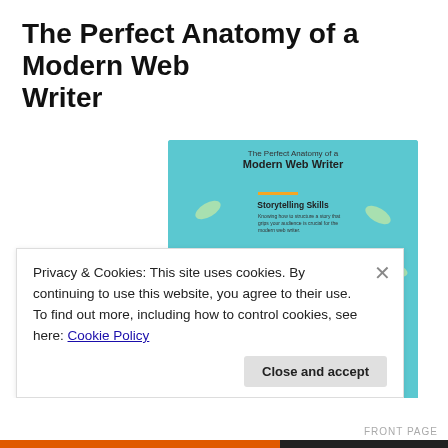The Perfect Anatomy of a Modern Web Writer
[Figure (infographic): An infographic titled 'The Perfect Anatomy of a Modern Web Writer' with a light blue background showing sections: Storytelling Skills, Caffeine Appreciation, Social Media Savvy, Copywriting Ability, Usability Awareness, with illustrated character at the bottom.]
Privacy & Cookies: This site uses cookies. By continuing to use this website, you agree to their use.
To find out more, including how to control cookies, see here: Cookie Policy
Close and accept